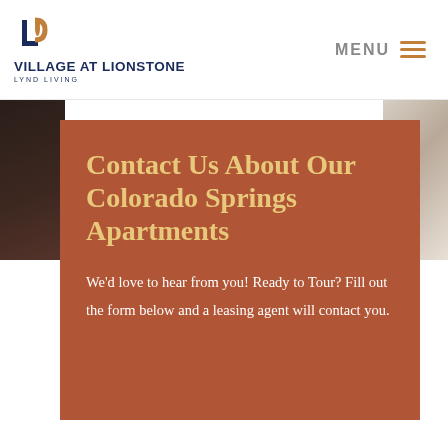VILLAGE AT LIONSTONE LYND LIVING
Contact Us About Our Colorado Springs Apartments
We'd love to hear from you! Ready to Tour? Fill out the form below and a leasing agent will contact you.